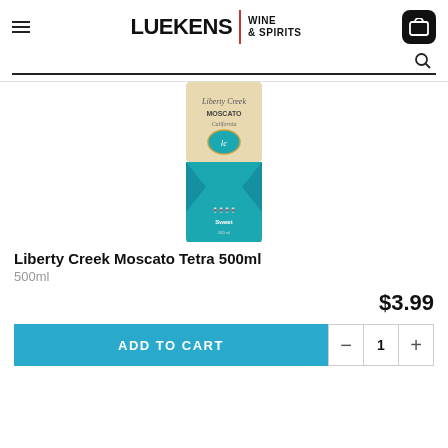Luekens Wine & Spirits
[Figure (photo): Liberty Creek Moscato Tetra 500ml wine product in a teal/turquoise metallic tetra pak carton with beige/cream upper section and oval logo]
Liberty Creek Moscato Tetra 500ml
500ml
$3.99
ADD TO CART